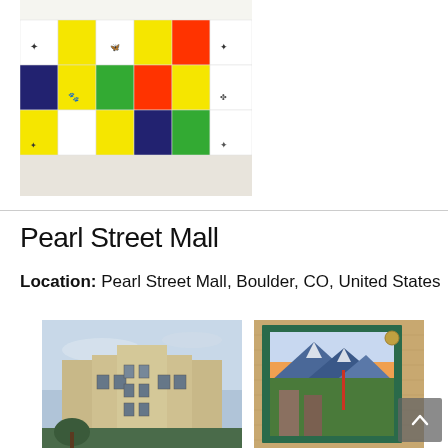[Figure (photo): Colorful wall mural installation with multiple panels showing various patterns, animals, and abstract designs in yellow, red, blue, green, and black on white background]
Pearl Street Mall
Location: Pearl Street Mall, Boulder, CO, United States
[Figure (photo): Exterior of a large Art Deco stone building photographed from below, with a grey-blue sky in the background and trees visible at the bottom]
[Figure (photo): A framed outdoor mural/painting mounted on a brick wall showing a colorful mountain landscape with blue mountains, sunset colors, and a town scene with buildings]